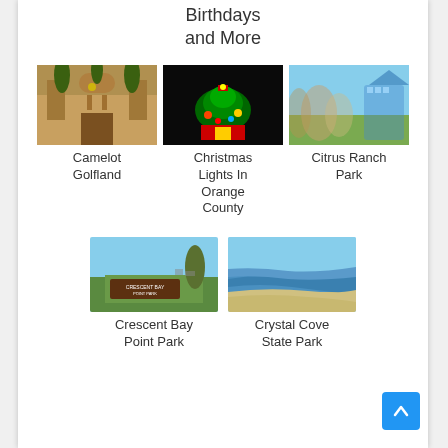Birthdays and More
[Figure (photo): Camelot Golfland entrance with castle-like architecture]
Camelot Golfland
[Figure (photo): Christmas lights display at night with green illuminated figures]
Christmas Lights In Orange County
[Figure (photo): Citrus Ranch Park with playground structures and ornamental grasses]
Citrus Ranch Park
[Figure (photo): Crescent Bay Point Park sign with green lawn and trees]
Crescent Bay Point Park
[Figure (photo): Crystal Cove State Park showing beach and ocean]
Crystal Cove State Park